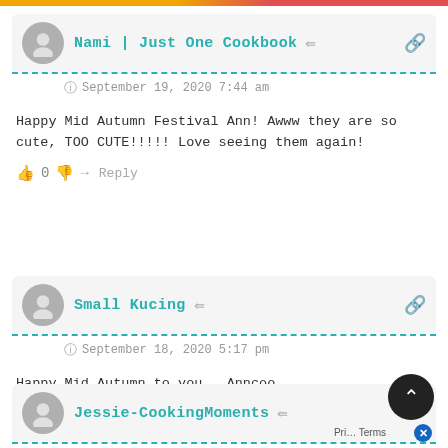Nami | Just One Cookbook — September 19, 2020 7:44 am
Happy Mid Autumn Festival Ann! Awww they are so cute, TOO CUTE!!!!! Love seeing them again!
Small Kucing — September 18, 2020 5:17 pm
Happy Mid Autumn to you., Anncoo
Jessie-CookingMoments — September 18, 2020 5:17 pm